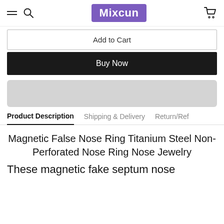Mixcun
Add to Cart
Buy Now
[Figure (other): Gray banner/advertisement placeholder]
Product Description | Shipping & Delivery | Return/Ref
Magnetic False Nose Ring Titanium Steel Non-Perforated Nose Ring Nose Jewelry
These magnetic fake septum nose